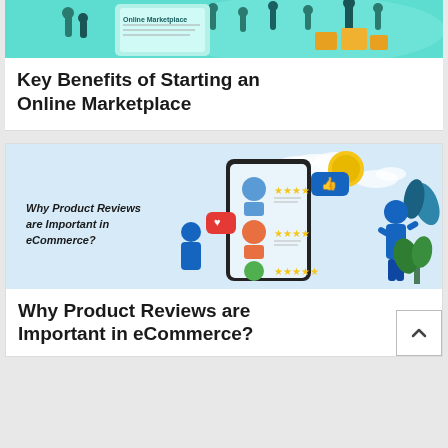[Figure (illustration): Teal/mint colored banner illustration of an online marketplace with people and product boxes]
Key Benefits of Starting an Online Marketplace
[Figure (illustration): Light blue banner illustration showing product reviews in eCommerce with smartphone, star ratings, and people]
Why Product Reviews are Important in eCommerce?